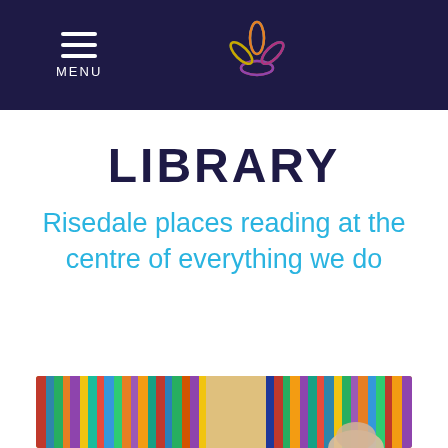MENU
[Figure (logo): Risedale school logo — colorful petal/leaf flower shape in blue, red, orange, purple, and green on dark navy background]
LIBRARY
Risedale places reading at the centre of everything we do
[Figure (photo): Photo of a student reading in a library with colorful books on shelves in the background]